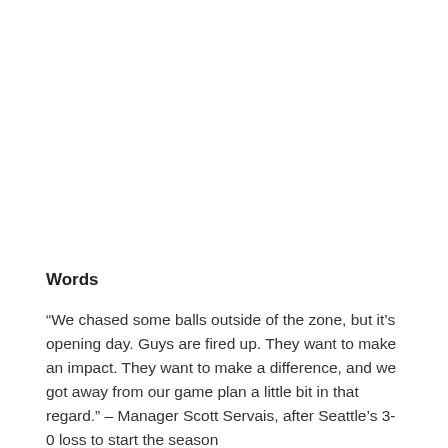Words
“We chased some balls outside of the zone, but it’s opening day. Guys are fired up. They want to make an impact. They want to make a difference, and we got away from our game plan a little bit in that regard.” – Manager Scott Servais, after Seattle’s 3-0 loss to start the season